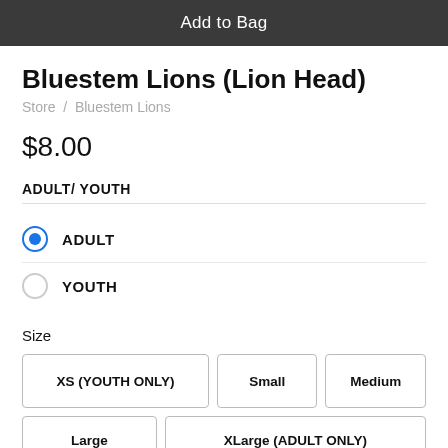Add to Bag
Bluestem Lions (Lion Head)
Store / Bluestem Lions
$8.00
ADULT/ YOUTH
ADULT (selected)
YOUTH
Size
XS (YOUTH ONLY)
Small
Medium
Large
XLarge (ADULT ONLY)